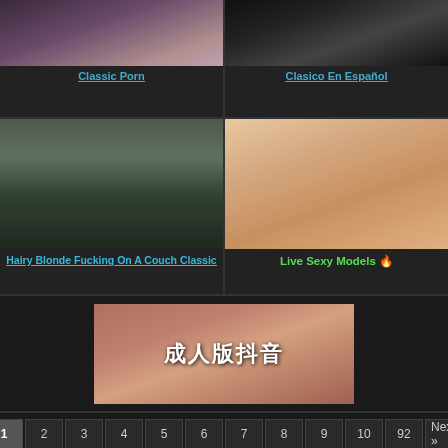[Figure (photo): Screenshot of adult video website grid showing thumbnails and titles]
Classic Porn
Clasico En Español
Hairy Blonde Fucking On A Couch Classic
Live Sexy Models 🔥
[Figure (photo): Advertisement banner with Chinese text: 成人版抖音]
1  2  3  4  5  6  7  8  9  10  92  Next »